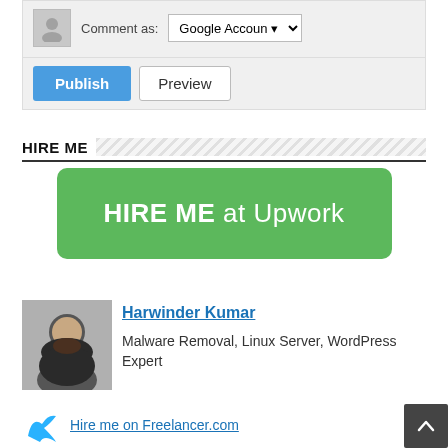[Figure (screenshot): Comment as section with avatar placeholder, Google Account dropdown, Publish and Preview buttons]
HIRE ME
[Figure (illustration): Green button with text: HIRE ME at Upwork]
Harwinder Kumar
Malware Removal, Linux Server, WordPress Expert
Hire me on Freelancer.com